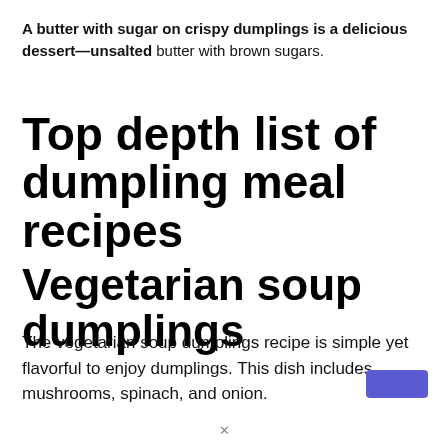A butter with sugar on crispy dumplings is a delicious dessert—unsalted butter with brown sugars.
Top depth list of dumpling meal recipes
Vegetarian soup dumplings
The vegetarian soup dumplings recipe is simple yet flavorful to enjoy dumplings. This dish includes mushrooms, spinach, and onion.